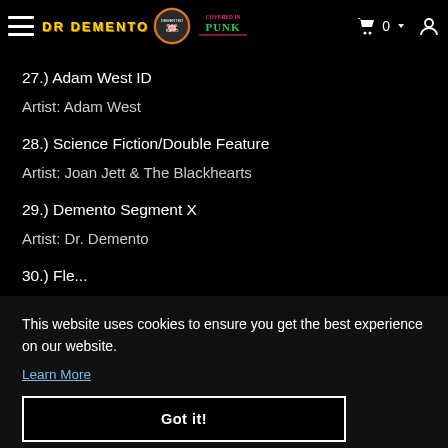Dr. Demento — Demented Punk Radio / Covered in Punk
27.) Adam West ID
Artist: Adam West
28.) Science Fiction/Double Feature
Artist: Joan Jett & The Blackhearts
29.) Demento Segment X
Artist: Dr. Demento
30.) [partially visible title cut off]
This website uses cookies to ensure you get the best experience on our website.
Learn More
Got it!
Artist: Dr. Demento